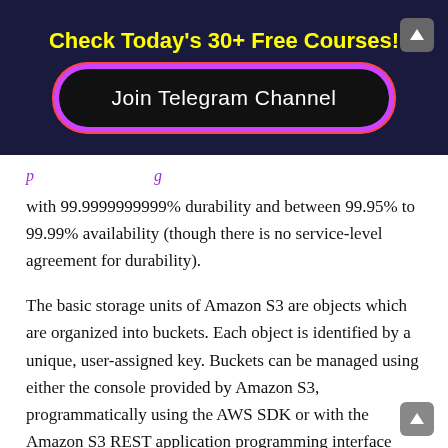Check Today's 30+ Free Courses! Join Telegram Channel
with 99.9999999999% durability and between 99.95% to 99.99% availability (though there is no service-level agreement for durability).
The basic storage units of Amazon S3 are objects which are organized into buckets. Each object is identified by a unique, user-assigned key. Buckets can be managed using either the console provided by Amazon S3, programmatically using the AWS SDK or with the Amazon S3 REST application programming interface (API). Objects can be managed using the AWS SDK or with the Amazon S3 REST API and can be up to five terabytes in size with two kilobytes of metadata. Additionally, objects